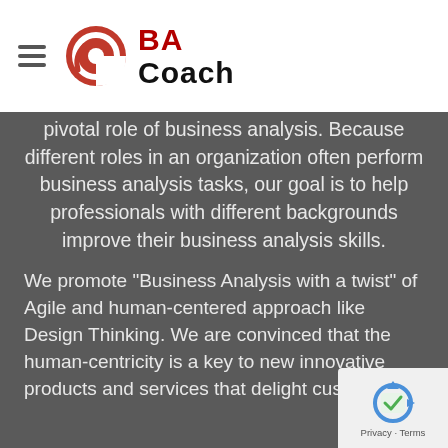BA Coach
pivotal role of business analysis. Because different roles in an organization often perform business analysis tasks, our goal is to help professionals with different backgrounds improve their business analysis skills.
We promote "Business Analysis with a twist" of Agile and human-centered approach like Design Thinking. We are convinced that the human-centricity is a key to new innovative products and services that delight customers.
[Figure (logo): reCAPTCHA badge with Privacy and Terms links]